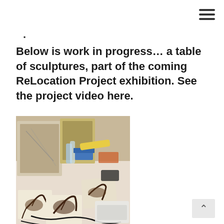≡
·
Below is work in progress… a table of sculptures, part of the coming ReLocation Project exhibition. See the project video here.
[Figure (photo): A studio worktable covered with sculptural works in progress — small framed pieces with dark tree-like forms made from roots or wire mounted on light wooden tiles, along with art supplies, bottles, and boxes scattered on a white table surface.]
^